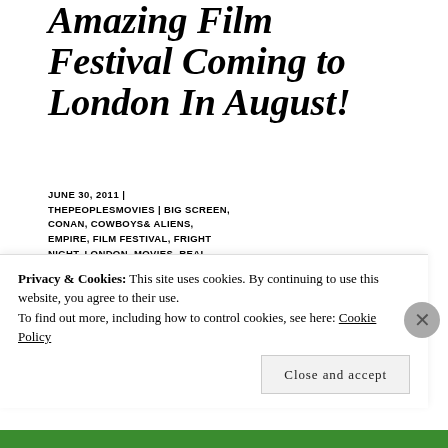Amazing Film Festival Coming to London In August!
JUNE 30, 2011 | THEPEOPLESMOVIES | BIG SCREEN, CONAN, COWBOYS& ALIENS, EMPIRE, FILM FESTIVAL, FRIGHT NIGHT, LONDON, MOVIES, REAL STEEL, THE MUPPETS | LEAVE A COMMENT
[Figure (photo): Still image from a film, warm toned interior scene]
Privacy & Cookies: This site uses cookies. By continuing to use this website, you agree to their use. To find out more, including how to control cookies, see here: Cookie Policy
Close and accept